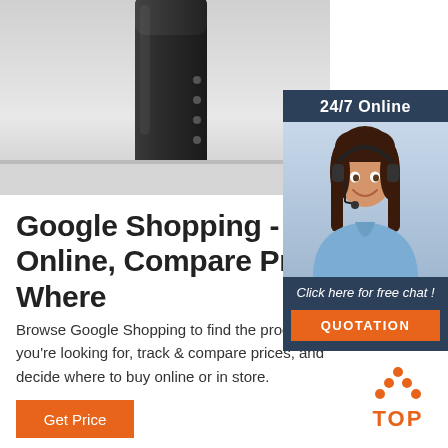[Figure (photo): Dark grey/black smart speaker or portable speaker device on a light grey surface, viewed from above at an angle, showing rounded rectangular form with small circular buttons on side.]
[Figure (infographic): Customer service chat widget showing '24/7 Online' header in dark navy, photo of smiling woman with headset in blue shirt, text 'Click here for free chat!' and orange QUOTATION button.]
Google Shopping - Shop Online, Compare Prices Where
Browse Google Shopping to find the products you're looking for, track & compare prices, and decide where to buy online or in store.
[Figure (logo): TOP logo with orange dotted triangle above the word TOP in orange text.]